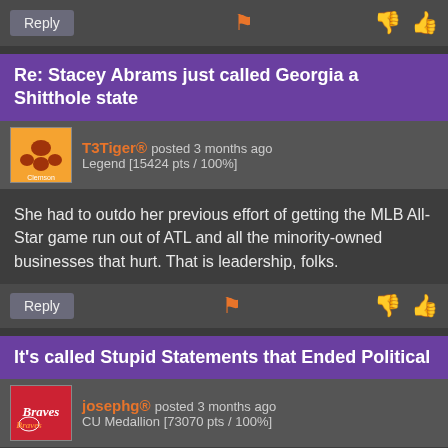Reply | [flag] [thumbs down] [thumbs up]
Re: Stacey Abrams just called Georgia a Shitthole state
T3Tiger® posted 3 months ago
Legend [15424 pts / 100%]
She had to outdo her previous effort of getting the MLB All-Star game run out of ATL and all the minority-owned businesses that hurt. That is leadership, folks.
Reply | [flag] [thumbs down] [thumbs up]
It's called Stupid Statements that Ended Political
josephg® posted 3 months ago
CU Medallion [73070 pts / 100%]
Careers For $800 Alex.